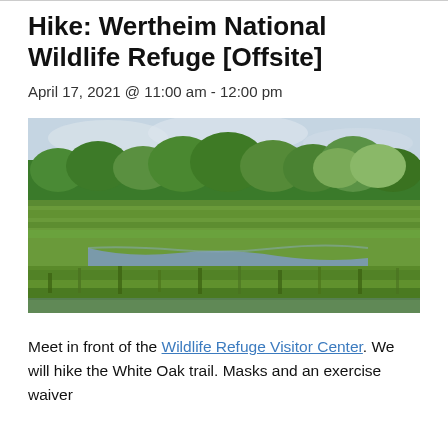Hike: Wertheim National Wildlife Refuge [Offsite]
April 17, 2021 @ 11:00 am - 12:00 pm
[Figure (photo): Outdoor nature photograph of Wertheim National Wildlife Refuge showing a wetland marsh with tall green grasses, a winding water channel, and a line of dense green trees in the background under a cloudy sky.]
Meet in front of the Wildlife Refuge Visitor Center. We will hike the White Oak trail. Masks and an exercise waiver